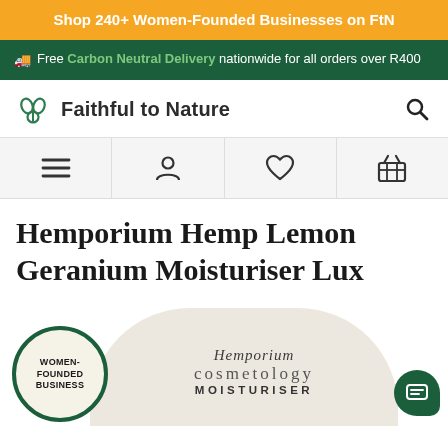Shop 240+ Women-Founded Businesses on FtN
Free Carbon Neutral Delivery nationwide for all orders over R400
[Figure (logo): Faithful to Nature logo with leaf/plant icon and site name]
[Figure (infographic): Navigation bar with menu, account, wishlist, and basket icons]
Hemporium Hemp Lemon Geranium Moisturiser Lux
[Figure (photo): Product image area showing Women-Founded Business badge, product jar with Hemporium Cosmetology Moisturiser label, and chat icon]